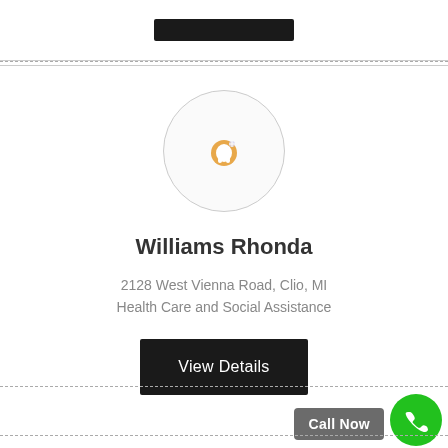[Figure (other): Redacted black bar at top of page]
[Figure (illustration): Tooth icon inside a light gray circle, representing a dental or healthcare provider]
Williams Rhonda
2128 West Vienna Road, Clio, MI
Health Care and Social Assistance
View Details
Call Now